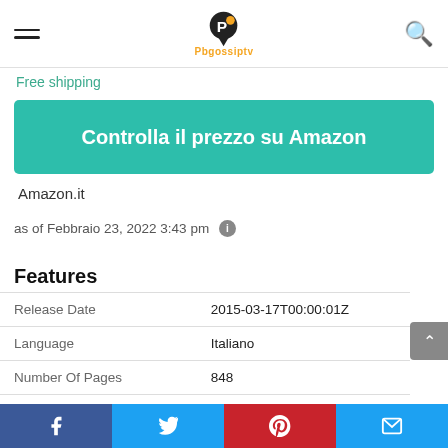Pbgossipty logo with hamburger menu and search icon
Free shipping
Controlla il prezzo su Amazon
Amazon.it
as of Febbraio 23, 2022 3:43 pm
Features
|  |  |
| --- | --- |
| Release Date | 2015-03-17T00:00:01Z |
| Language | Italiano |
| Number Of Pages | 848 |
| Publication Date | 2015-03-17T00:00:01Z |
Facebook Twitter Pinterest Email